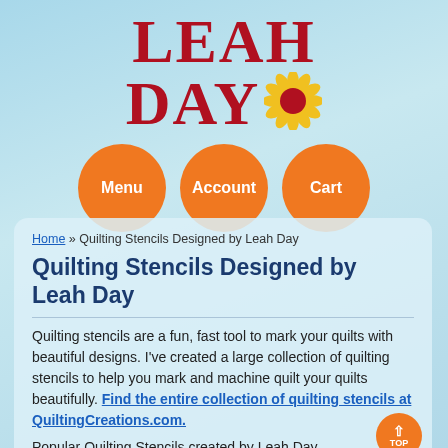[Figure (logo): Leah Day logo with large red serif text 'LEAH DAY' and a sunflower graphic, on a light blue gradient background]
[Figure (infographic): Three orange circle navigation buttons labeled Menu, Account, Cart]
Home » Quilting Stencils Designed by Leah Day
Quilting Stencils Designed by Leah Day
Quilting stencils are a fun, fast tool to mark your quilts with beautiful designs. I've created a large collection of quilting stencils to help you mark and machine quilt your quilts beautifully. Find the entire collection of quilting stencils at QuiltingCreations.com.
Popular Quilting Stencils created by Leah Day